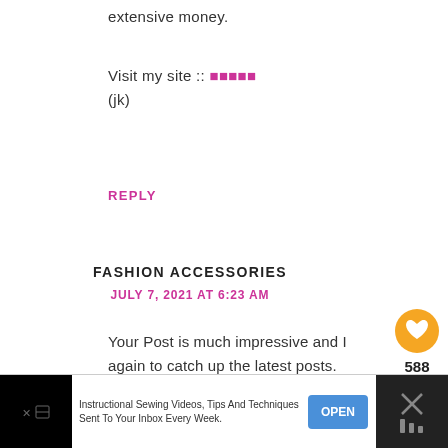extensive money.
Visit my site :: ●●●●●
(jk)
REPLY
FASHION ACCESSORIES
JULY 7, 2021 AT 6:23 AM
Your Post is much impressive and I again to catch up the latest posts.
[Figure (infographic): Floating like/heart button showing 588 likes and share button]
[Figure (infographic): What's Next widget showing a woman's photo and text 'sewing a 50's housedress...']
[Figure (infographic): Advertisement banner: Instructional Sewing Videos, Tips And Techniques Sent To Your Inbox Every Week. OPEN button.]